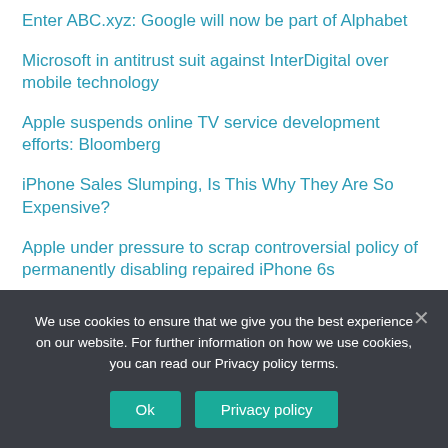Enter ABC.xyz: Google will now be part of Alphabet
Microsoft in antitrust suit against InterDigital over mobile technology
Apple suspends online TV service development efforts: Bloomberg
iPhone Sales Slumping, Is This Why They Are So Expensive?
Apple under pressure to scrap controversial policy of permanently disabling repaired iPhone 6s
Google is bringing AI to your Raspberry Pi
Apple fights FBI in Court order to break iPhone encryption
We use cookies to ensure that we give you the best experience on our website. For further information on how we use cookies, you can read our Privacy policy terms.